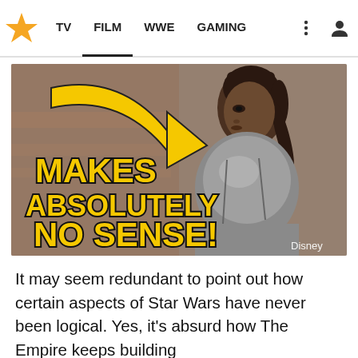TV  FILM  WWE  GAMING
[Figure (photo): Thumbnail image of a young Black woman in silver armor, with a large yellow arrow pointing at her and yellow bold text reading 'MAKES ABSOLUTELY NO SENSE!' overlaid. Disney watermark in bottom right.]
It may seem redundant to point out how certain aspects of Star Wars have never been logical. Yes, it's absurd how The Empire keeps building